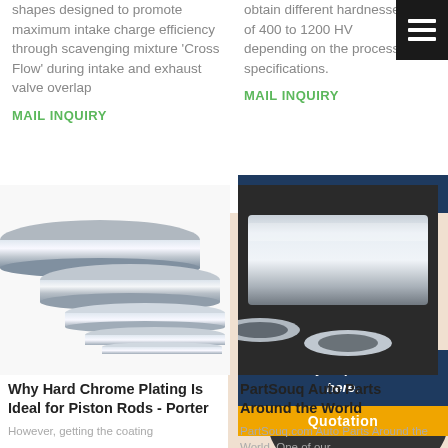shapes designed to promote maximum intake charge efficiency through scavenging mixture 'Cross Flow' during intake and exhaust valve overlap
MAIL INQUIRY
obtain different hardnesses of 400 to 1200 HV depending on the process specifications.
MAIL INQUIRY
[Figure (other): Hamburger menu icon, three white lines on dark background]
[Figure (other): 24/7 Online banner in dark blue]
[Figure (photo): Customer service representative woman smiling with headset]
Have any requests, click here.
Quotation
[Figure (photo): Chrome plated piston rods - multiple metallic cylindrical rods]
[Figure (photo): PartSouq Auto Parts - metallic tubes/pipes on dark background]
Why Hard Chrome Plating Is Ideal for Piston Rods - Porter
PartSouq Auto Parts Around the World
PartSouq.com Auto Parts Around the World. One of our
However, getting the coating